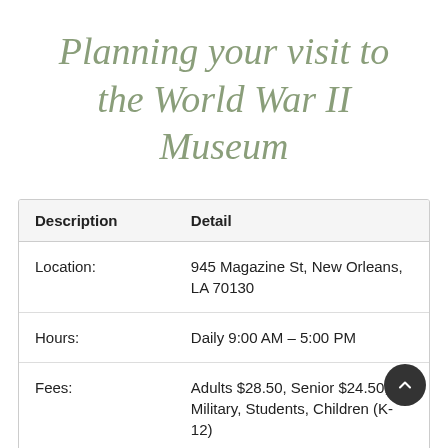Planning your visit to the World War II Museum
| Description | Detail |
| --- | --- |
| Location: | 945 Magazine St, New Orleans, LA 70130 |
| Hours: | Daily 9:00 AM – 5:00 PM |
| Fees: | Adults $28.50, Senior $24.50, Military, Students, Children (K-12) |